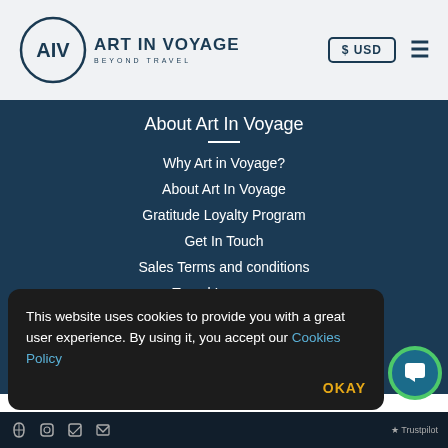Art In Voyage — Beyond Travel | $ USD
About Art In Voyage
Why Art in Voyage?
About Art In Voyage
Gratitude Loyalty Program
Get In Touch
Sales Terms and conditions
Travel Insurance
This website uses cookies to provide you with a great user experience. By using it, you accept our Cookies Policy OKAY
Social icons | Trustpilot